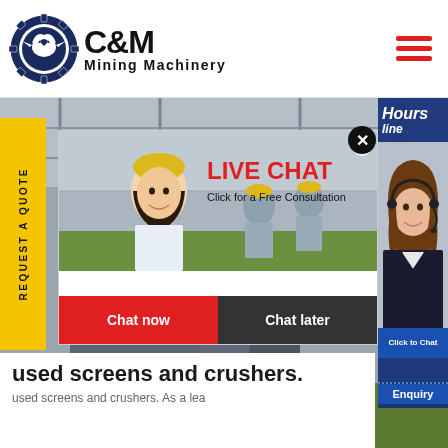[Figure (logo): C&M Mining Machinery logo — circular gear/eagle emblem in dark navy blue, with bold text C&M and Mining Machinery]
[Figure (screenshot): Website screenshot showing a mining machinery factory background with workers in hard hats, a live chat popup overlay with 'LIVE CHAT / Click for a Free Consultation' and Chat now/Chat later buttons, a yellow REQUEST A QUOTE sidebar, and a right panel with agent photo and Hours Online text]
used screens and crushers.
used screens and crushers. As a lea